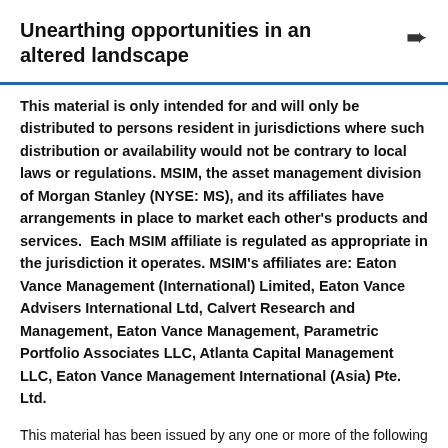Unearthing opportunities in an altered landscape
This material is only intended for and will only be distributed to persons resident in jurisdictions where such distribution or availability would not be contrary to local laws or regulations. MSIM, the asset management division of Morgan Stanley (NYSE: MS), and its affiliates have arrangements in place to market each other’s products and services.  Each MSIM affiliate is regulated as appropriate in the jurisdiction it operates. MSIM’s affiliates are: Eaton Vance Management (International) Limited, Eaton Vance Advisers International Ltd, Calvert Research and Management, Eaton Vance Management, Parametric Portfolio Associates LLC, Atlanta Capital Management LLC, Eaton Vance Management International (Asia) Pte. Ltd.
This material has been issued by any one or more of the following entities: